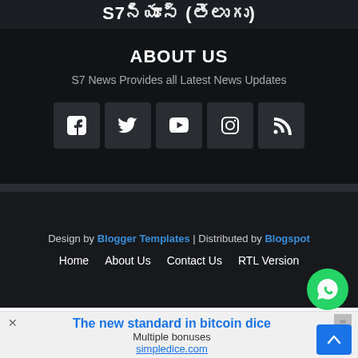S7న్యూస్ (తెలుగు)
ABOUT US
S7 News Provides all Latest News Updates
[Figure (infographic): Social media icons: Facebook, Twitter, YouTube, Instagram, RSS]
Design by Blogger Templates | Distributed by Blogspot
Home   About Us   Contact Us   RTL Version
The new standard in bitcoin dice
Multiple bonuses
simpledice.com